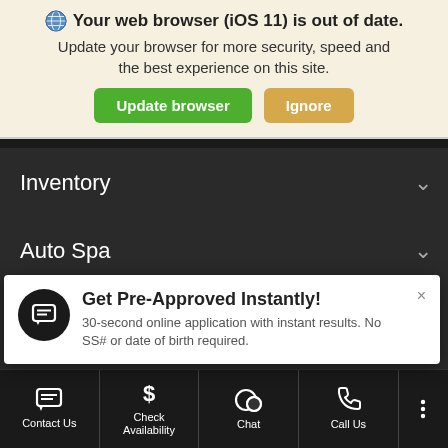[Figure (screenshot): Browser warning banner with globe icon, bold text 'Your web browser (iOS 11) is out of date.', subtext, green 'Update browser' button and tan 'Ignore' button]
Inventory ∨
Auto Spa ∨
Specials ∨
Finance ∨
[Figure (screenshot): White popup notification: chat icon on dark circle, 'Get Pre-Approved Instantly!' title, '30-second online application with instant results. No SS# or date of birth required.' body text, × close button]
[Figure (screenshot): Bottom navigation bar with icons and labels: Contact Us, Check Availability, Chat, Call Us, and a three-dot menu icon]